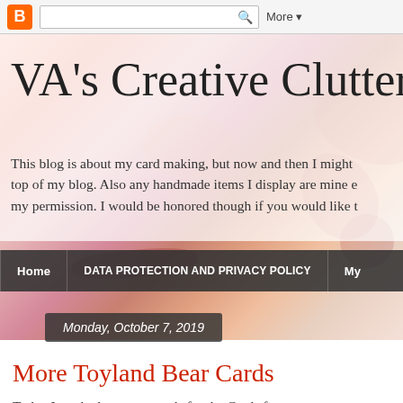Blogger navigation bar with search
VA's Creative Clutter
This blog is about my card making, but now and then I might top of my blog. Also any handmade items I display are mine e my permission. I would be honored though if you would like t
Home | DATA PROTECTION AND PRIVACY POLICY | My
Monday, October 7, 2019
More Toyland Bear Cards
Today I worked on more cards for the Cards fo Drive. And, again I used the cute little Toyland B Jan's Digital Shop.  So now I have ten cards do make more if possible. I also used the same pa